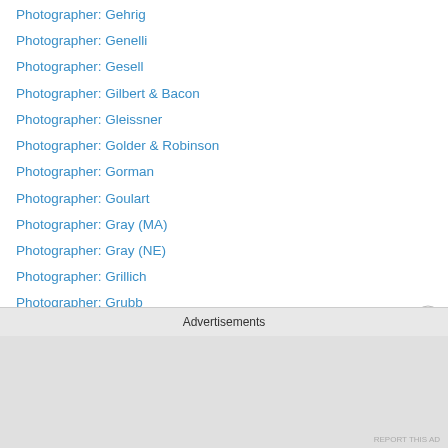Photographer: Gehrig
Photographer: Genelli
Photographer: Gesell
Photographer: Gilbert & Bacon
Photographer: Gleissner
Photographer: Golder & Robinson
Photographer: Gorman
Photographer: Goulart
Photographer: Gray (MA)
Photographer: Gray (NE)
Photographer: Grillich
Photographer: Grubb
Photographer: Guerin
Photographer: Gurney & Son
Photographer: Guttenberg
Photographer: Halasz
Photographer: Hall (partial, cut off)
Advertisements